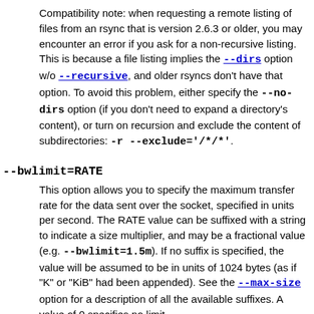Compatibility note: when requesting a remote listing of files from an rsync that is version 2.6.3 or older, you may encounter an error if you ask for a non-recursive listing. This is because a file listing implies the --dirs option w/o --recursive, and older rsyncs don't have that option. To avoid this problem, either specify the --no-dirs option (if you don't need to expand a directory's content), or turn on recursion and exclude the content of subdirectories: -r --exclude='/*/*'.
--bwlimit=RATE
This option allows you to specify the maximum transfer rate for the data sent over the socket, specified in units per second. The RATE value can be suffixed with a string to indicate a size multiplier, and may be a fractional value (e.g. --bwlimit=1.5m). If no suffix is specified, the value will be assumed to be in units of 1024 bytes (as if "K" or "KiB" had been appended). See the --max-size option for a description of all the available suffixes. A value of 0 specifies no limit.
For backward-compatibility reasons, the rate limit will be rounded to the nearest KiB unit, so no rate smaller than 100 bytes per second is possible.